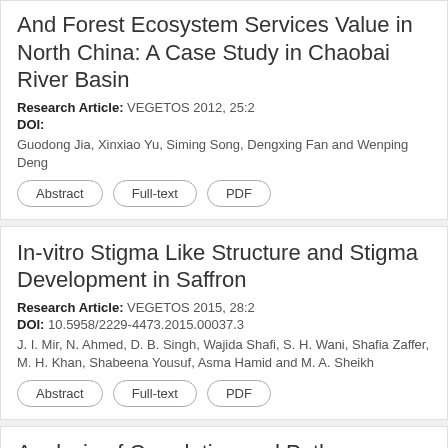And Forest Ecosystem Services Value in North China: A Case Study in Chaobai River Basin
Research Article: VEGETOS 2012, 25:2
DOI:
Guodong Jia, Xinxiao Yu, Siming Song, Dengxing Fan and Wenping Deng
Abstract | Full-text | PDF
In-vitro Stigma Like Structure and Stigma Development in Saffron
Research Article: VEGETOS 2015, 28:2
DOI: 10.5958/2229-4473.2015.00037.3
J. I. Mir, N. Ahmed, D. B. Singh, Wajida Shafi, S. H. Wani, Shafia Zaffer, M. H. Khan, Shabeena Yousuf, Asma Hamid and M. A. Sheikh
Abstract | Full-text | PDF
Analysis of Correlation and Path Coefficients among Yield and Biochemical Traits under Irrigated and Raupotation Stress Provid St...